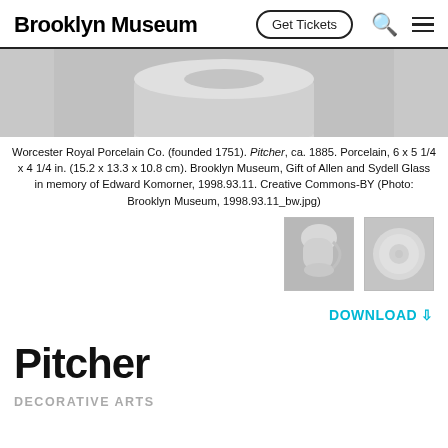Brooklyn Museum | Get Tickets
[Figure (photo): Cropped top view of a white porcelain pitcher against a gray background]
Worcester Royal Porcelain Co. (founded 1751). Pitcher, ca. 1885. Porcelain, 6 x 5 1/4 x 4 1/4 in. (15.2 x 13.3 x 10.8 cm). Brooklyn Museum, Gift of Allen and Sydell Glass in memory of Edward Komorner, 1998.93.11. Creative Commons-BY (Photo: Brooklyn Museum, 1998.93.11_bw.jpg)
[Figure (photo): Thumbnail: side view of white porcelain pitcher]
[Figure (photo): Thumbnail: bottom/top view of white porcelain pitcher]
DOWNLOAD ⇩
Pitcher
DECORATIVE ARTS